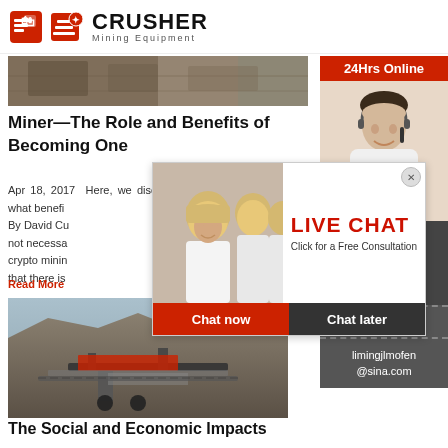CRUSHER Mining Equipment
[Figure (photo): Banner image of mining/industrial equipment]
Miner—The Role and Benefits of Becoming One
Apr 18, 2017  Here, we discuss the importance of what benefits By David Cu not necessarily crypto mining that there is
Read More
[Figure (photo): Mining crushing equipment at a quarry site]
The Social and Economic Impacts
[Figure (infographic): Live Chat popup overlay with workers in yellow hard hats, LIVE CHAT heading, Chat now and Chat later buttons]
[Figure (photo): 24Hrs Online banner with support agent photo]
Need questions & suggestion?
Chat Now
Enquiry
limingjlmofen@sina.com